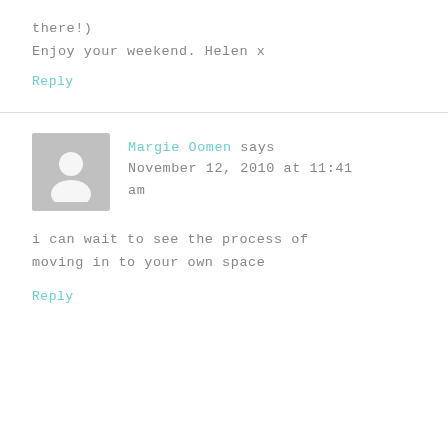there!)
Enjoy your weekend. Helen x
Reply
Margie Oomen says
November 12, 2010 at 11:41 am
i can wait to see the process of moving in to your own space
Reply